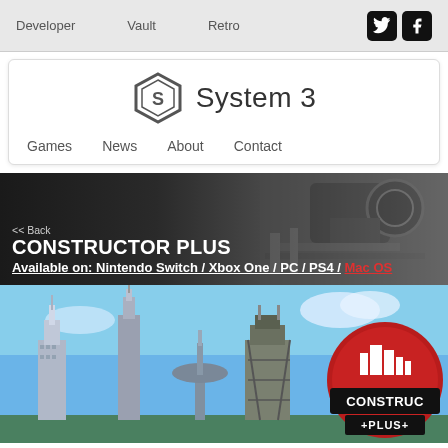Developer   Vault   Retro
[Figure (logo): System 3 logo with hexagon icon and text 'System 3']
Games   News   About   Contact
<< Back
CONSTRUCTOR PLUS
Available on: Nintendo Switch / Xbox One / PC / PS4 / Mac OS
[Figure (photo): Constructor Plus game artwork showing city skyline with skyscrapers, space needle, rocket launch structure, and Constructor Plus logo badge on the right]